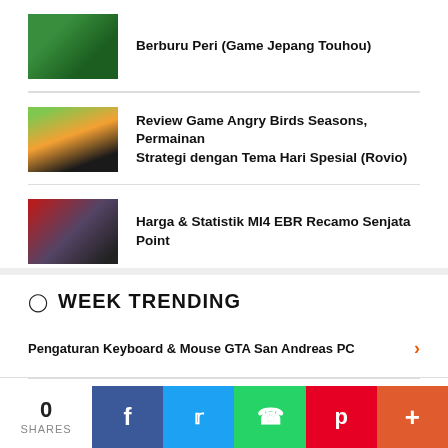Berburu Peri (Game Jepang Touhou)
Review Game Angry Birds Seasons, Permainan Strategi dengan Tema Hari Spesial (Rovio)
Harga & Statistik MI4 EBR Recamo Senjata Point
WEEK TRENDING
Pengaturan Keyboard & Mouse GTA San Andreas PC
Daftar Senjata GTA San Andreas: Peta Lokasi & Penjelasan
0 SHARES